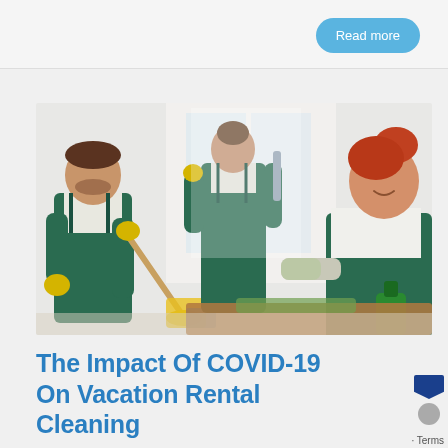Read more
[Figure (photo): Three professional cleaners in green overalls cleaning a bright room. A man on the left uses a mop with yellow gloves, a person in the middle faces away cleaning a window, and a smiling red-haired woman on the right wipes a surface with a green spray bottle.]
The Impact Of COVID-19 On Vacation Rental Cleaning